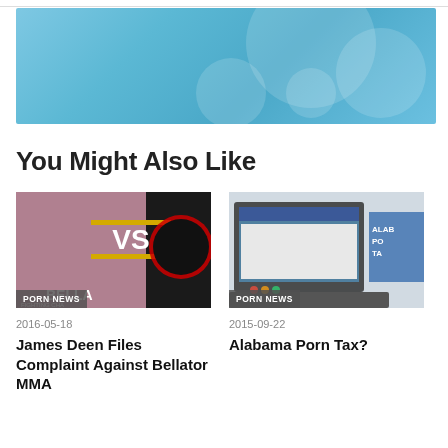[Figure (photo): Light blue banner advertisement with circular design elements]
You Might Also Like
[Figure (photo): Article thumbnail showing James Deen vs Bellator MMA fighting championship graphic with PORN NEWS tag]
2016-05-18
James Deen Files Complaint Against Bellator MMA
[Figure (photo): Article thumbnail showing laptop computer with Alabama Porn Tax sign, with PORN NEWS tag]
2015-09-22
Alabama Porn Tax?